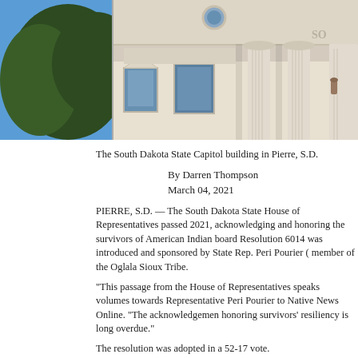[Figure (photo): The South Dakota State Capitol building in Pierre, S.D. — exterior facade with classical columns, ornate cornice, and windows against a blue sky with trees visible on the left.]
The South Dakota State Capitol building in Pierre, S.D.
By Darren Thompson
March 04, 2021
PIERRE, S.D. — The South Dakota State House of Representatives passed 2021, acknowledging and honoring the survivors of American Indian board Resolution 6014 was introduced and sponsored by State Rep. Peri Pourier ( member of the Oglala Sioux Tribe.
“This passage from the House of Representatives speaks volumes towards Representative Peri Pourier to Native News Online. “The acknowledgemen honoring survivors’ resiliency is long overdue.”
The resolution was adopted in a 52-17 vote.